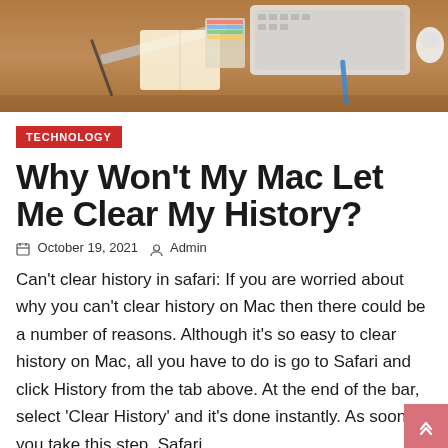[Figure (photo): A wooden desk with keyboard, mouse, notebook, ruler, pen, and colorful swatches visible from above.]
TECHNOLOGY
Why Won't My Mac Let Me Clear My History?
October 19, 2021   Admin
Can't clear history in safari: If you are worried about why you can't clear history on Mac then there could be a number of reasons. Although it's so easy to clear history on Mac, all you have to do is go to Safari and click History from the tab above. At the end of the bar, select 'Clear History' and it's done instantly. As soon as you take this step, Safari